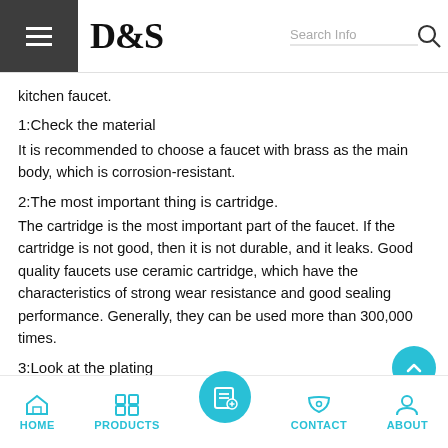D&S
kitchen faucet.
1:Check the material
It is recommended to choose a faucet with brass as the main body, which is corrosion-resistant.
2:The most important thing is cartridge.
The cartridge is the most important part of the faucet. If the cartridge is not good, then it is not durable, and it leaks. Good quality faucets use ceramic cartridge, which have the characteristics of strong wear resistance and good sealing performance. Generally, they can be used more than 300,000 times.
3:Look at the plating
A good coating will last forever and shine.
4:Try the "bubble" sense
When purchasing, remember to turn on the faucet to test the water flow.
HOME | PRODUCTS | CONTACT | ABOUT